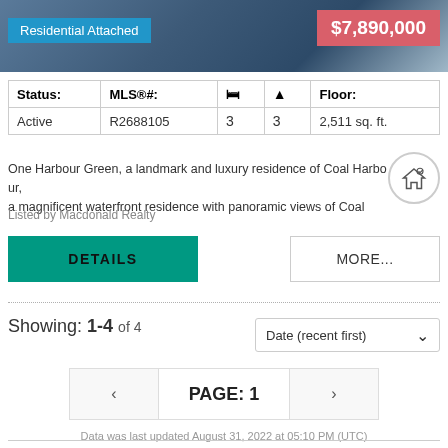[Figure (photo): Waterfront property photo with 'Residential Attached' badge in blue and '$7,890,000' price badge in red/pink]
| Status: | MLS®#: | 🛏 | 🛁 | Floor: |
| --- | --- | --- | --- | --- |
| Active | R2688105 | 3 | 3 | 2,511 sq. ft. |
One Harbour Green, a landmark and luxury residence of Coal Harbour, a magnificent waterfront residence with panoramic views of Coal
Listed by Macdonald Realty
Showing: 1-4 of 4
Date (recent first)
PAGE: 1
Data was last updated August 31, 2022 at 05:10 PM (UTC)
The data relating to real estate on this website comes in part